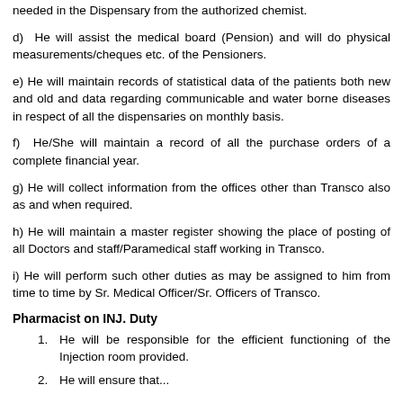needed in the Dispensary from the authorized chemist.
d)  He will assist the medical board (Pension) and will do physical measurements/cheques etc. of the Pensioners.
e) He will maintain records of statistical data of the patients both new and old and data regarding communicable and water borne diseases in respect of all the dispensaries on monthly basis.
f)  He/She will maintain a record of all the purchase orders of a complete financial year.
g) He will collect information from the offices other than Transco also as and when required.
h) He will maintain a master register showing the place of posting of all Doctors and staff/Paramedical staff working in Transco.
i) He will perform such other duties as may be assigned to him from time to time by Sr. Medical Officer/Sr. Officers of Transco.
Pharmacist on INJ. Duty
1. He will be responsible for the efficient functioning of the Injection room provided.
2. He will ensure that...